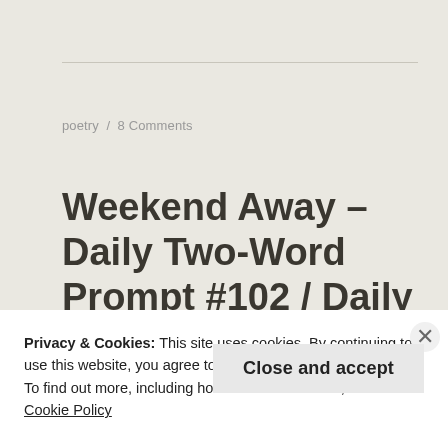poetry  /  8 Comments
Weekend Away – Daily Two-Word Prompt #102 / Daily Prompt
Privacy & Cookies: This site uses cookies. By continuing to use this website, you agree to their use.
To find out more, including how to control cookies, see here:
Cookie Policy
Close and accept